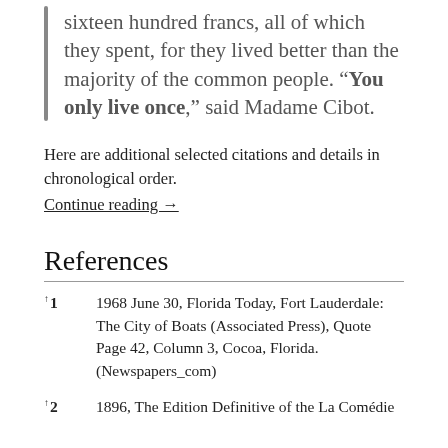sixteen hundred francs, all of which they spent, for they lived better than the majority of the common people. “You only live once,” said Madame Cibot.
Here are additional selected citations and details in chronological order.
Continue reading →
References
1968 June 30, Florida Today, Fort Lauderdale: The City of Boats (Associated Press), Quote Page 42, Column 3, Cocoa, Florida. (Newspapers_com)
1896, The Edition Definitive of the La Comédie